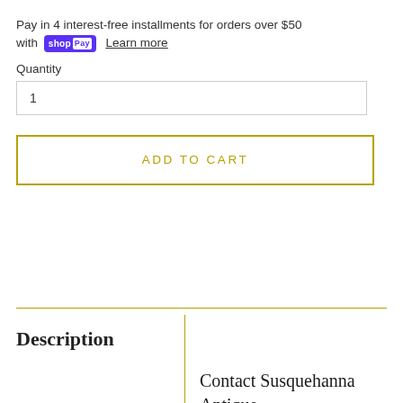Pay in 4 interest-free installments for orders over $50 with shop Pay  Learn more
Quantity
1
ADD TO CART
Description
Contact Susquehanna Antique Company